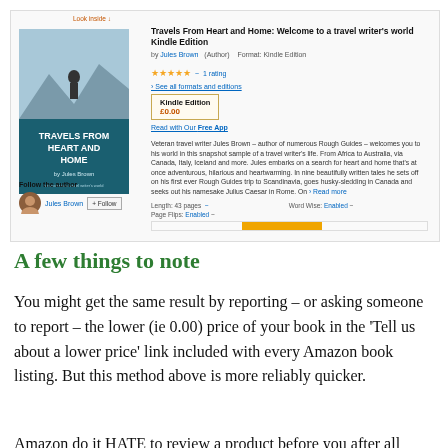[Figure (screenshot): Amazon Kindle book listing for 'Travels From Heart and Home: Welcome to a travel writer's world Kindle Edition' by Jules Brown, showing book cover, star rating, price £0.00, description, and Follow the Author section with Jules Brown profile and +Follow button]
A few things to note
You might get the same result by reporting – or asking someone to report – the lower (ie 0.00) price of your book in the 'Tell us about a lower price' link included with every Amazon book listing. But this method above is more reliably quicker.
Amazon do it HATE to review a product before you after all